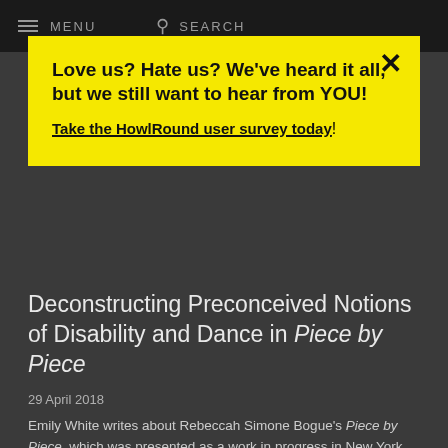MENU   SEARCH
Love us? Hate us? We've heard it all, but we still want to hear from YOU!

Take the HowlRound user survey today!
Deconstructing Preconceived Notions of Disability and Dance in Piece by Piece
29 April 2018
Emily White writes about Rebeccah Simone Bogue's Piece by Piece, which was presented as a work in progress in New York City in February 2018.